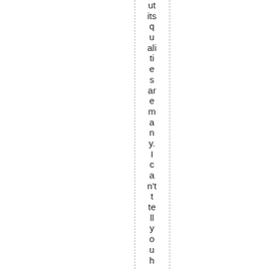ut its qualities are many. I can't tell you how muc